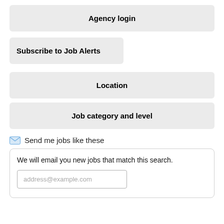Agency login
Subscribe to Job Alerts
Location
Job category and level
Send me jobs like these
We will email you new jobs that match this search.
address@example.com